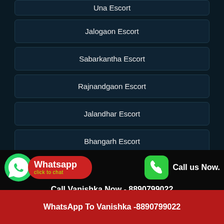Una Escort
Jalogaon Escort
Sabarkantha Escort
Rajnandgaon Escort
Jalandhar Escort
Bhangarh Escort
Vapi Escort
Maninagar Escort
Whatsapp click to chat
Call us Now.
Call Vanishka Now - 8890799022
WhatsApp To Vanishka -8890799022